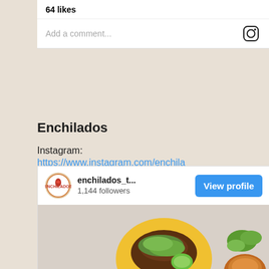64 likes
Add a comment...
Enchilados
Instagram:
https://www.instagram.com/enchilados_taqueria/
Taco traditions made twisted, but with deliciousness intact.
[Figure (screenshot): Instagram profile embed card for enchilados_t... with 1,144 followers, View profile button, and taco food photo below]